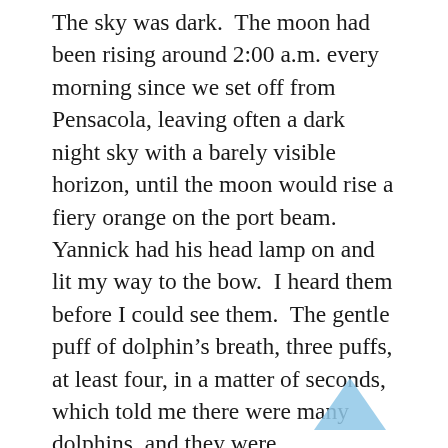The sky was dark. The moon had been rising around 2:00 a.m. every morning since we set off from Pensacola, leaving often a dark night sky with a barely visible horizon, until the moon would rise a fiery orange on the port beam. Yannick had his head lamp on and lit my way to the bow. I heard them before I could see them. The gentle puff of dolphin's breath, three puffs, at least four, in a matter of seconds, which told me there were many dolphins, and they were everywhere. I could hear them on our starboard side, near the starboard bow, and near the center of the boat where Yannick was already looking over.
I perched on the edge near the port side, my feet dangling over the bow feeling the crisp salt spray from the water and I saw them. Dolphins. A dozen at least. Zipping